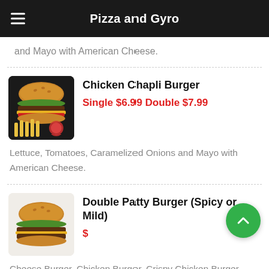Pizza and Gyro
and Mayo with American Cheese.
Chicken Chapli Burger
Single $6.99 Double $7.99
Lettuce, Tomatoes, Caramelized Onions and Mayo with American Cheese.
Double Patty Burger (Spicy or Mild)
$
Cheese Burger, Chicken Burger, Crispy Chicken Burger Lettuce, Tomatoes, Caramelized Onions,
[Figure (photo): Photo of a burger with fries on a dark background]
[Figure (photo): Photo of a double patty burger on a white surface]